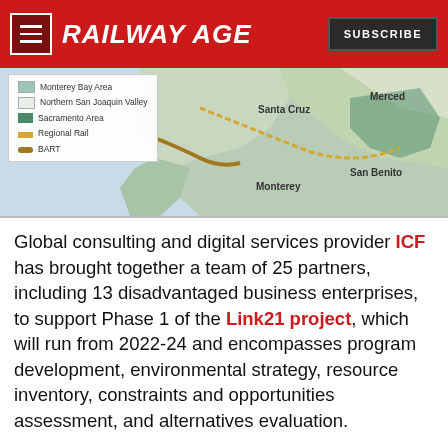RAILWAY AGE | SUBSCRIBE
[Figure (map): Map of California regions including Monterey Bay Area, Northern San Joaquin Valley, Sacramento Area, Regional Rail, and BART legend, showing Santa Cruz, Merced, Monterey, San Benito labels on a regional map.]
Global consulting and digital services provider ICF has brought together a team of 25 partners, including 13 disadvantaged business enterprises, to support Phase 1 of the Link21 project, which will run from 2022-24 and encompasses program development, environmental strategy, resource inventory, constraints and opportunities assessment, and alternatives evaluation.
Link21 is a multi-project initiative led by BART and